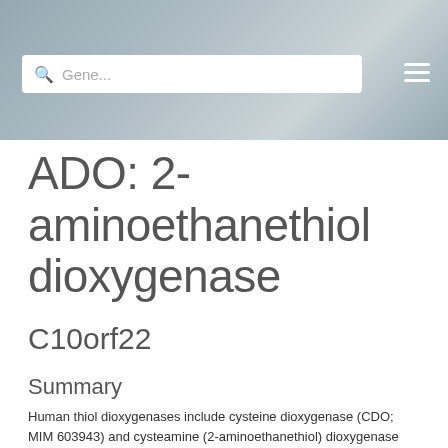[Figure (screenshot): Website header banner with blurred nature background, a search bar reading 'Gene...' and a hamburger menu icon]
ADO: 2-aminoethanethiol dioxygenase
C10orf22
Summary
Human thiol dioxygenases include cysteine dioxygenase (CDO; MIM 603943) and cysteamine (2-aminoethanethiol) dioxygenase (ADO; EC 1.13.11.19). CDO adds 2 oxygen atoms to free cysteine, whereas ADO